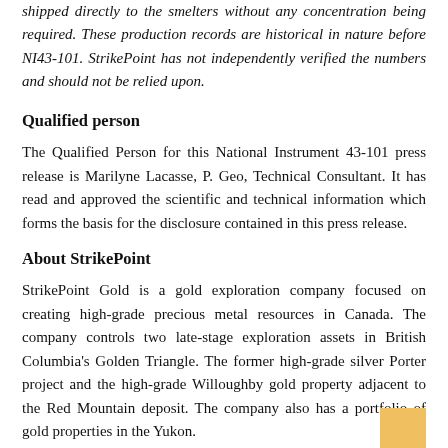shipped directly to the smelters without any concentration being required. These production records are historical in nature before NI43-101. StrikePoint has not independently verified the numbers and should not be relied upon.
Qualified person
The Qualified Person for this National Instrument 43-101 press release is Marilyne Lacasse, P. Geo, Technical Consultant. It has read and approved the scientific and technical information which forms the basis for the disclosure contained in this press release.
About StrikePoint
StrikePoint Gold is a gold exploration company focused on creating high-grade precious metal resources in Canada. The company controls two late-stage exploration assets in British Columbia's Golden Triangle. The former high-grade silver Porter project and the high-grade Willoughby gold property adjacent to the Red Mountain deposit. The company also has a portfolio of gold properties in the Yukon.